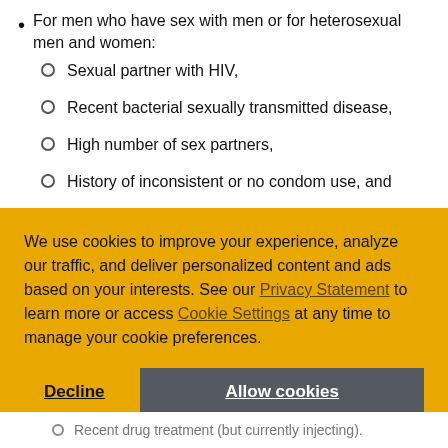For men who have sex with men or for heterosexual men and women:
Sexual partner with HIV,
Recent bacterial sexually transmitted disease,
High number of sex partners,
History of inconsistent or no condom use, and
We use cookies to improve your experience, analyze our traffic, and deliver personalized content and ads based on your interests. See our Privacy Statement to learn more or access Cookie Settings at any time to manage your cookie preferences.
Recent drug treatment (but currently injecting).